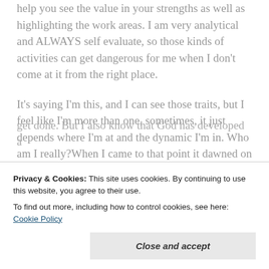help you see the value in your strengths as well as highlighting the work areas. I am very analytical and ALWAYS self evaluate, so those kinds of activities can get dangerous for me when I don't come at it from the right place.
It's saying I'm this, and I can see those traits, but I feel like I'm more than one, sometimes, it just depends where I'm at and the dynamic I'm in. Who am I really?When I came to that point it dawned on me. I know who I am! What kind of place am I allowing myself to go to? I know where I belong and who I belong to. I know who I'm not
get done. But I also know that God has developed a
Privacy & Cookies: This site uses cookies. By continuing to use this website, you agree to their use.
To find out more, including how to control cookies, see here: Cookie Policy
Close and accept